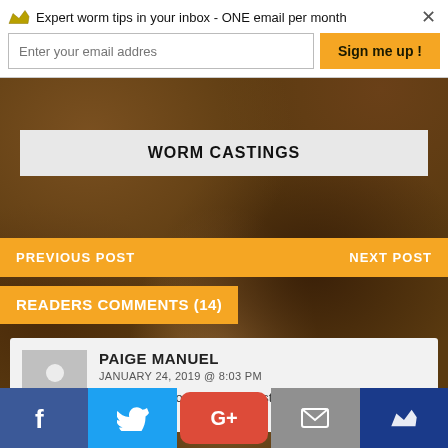Expert worm tips in your inbox - ONE email per month
Enter your email addres
Sign me up !
WORM CASTINGS
PREVIOUS POST
NEXT POST
READERS COMMENTS (14)
PAIGE MANUEL
JANUARY 24, 2019 @ 8:03 PM
Hi. I have an outdoor compost bin also.
f  [twitter]  G+  [email]  [crown]